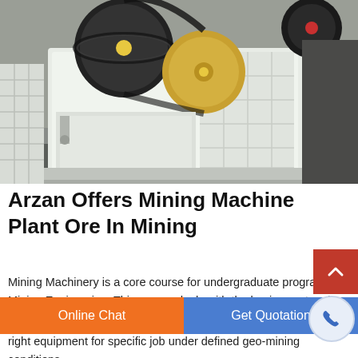[Figure (photo): Industrial mining jaw crusher machine, painted white, with large black belt pulleys and yellow flywheel, photographed in a factory/warehouse setting. Heavy metal frame with grid-like side structure visible.]
Arzan Offers Mining Machine Plant Ore In Mining
Mining Machinery is a core course for undergraduate program in Mining Engineering. This course deals with the basic construction, operation and maintenance aspects of machines used in mining, right equipment for specific job under defined geo-mining conditions